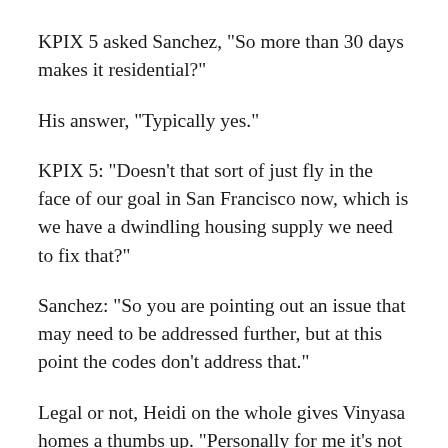KPIX 5 asked Sanchez, "So more than 30 days makes it residential?"
His answer, "Typically yes."
KPIX 5: "Doesn't that sort of just fly in the face of our goal in San Francisco now, which is we have a dwindling housing supply we need to fix that?"
Sanchez: "So you are pointing out an issue that may need to be addressed further, but at this point the codes don't address that."
Legal or not, Heidi on the whole gives Vinyasa homes a thumbs up. "Personally for me it's not really my cup of tea. But I could see how for other people who like that style of living that it would work," she